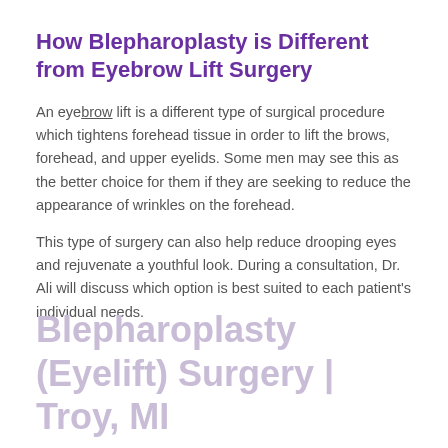How Blepharoplasty is Different from Eyebrow Lift Surgery
An eyebrow lift is a different type of surgical procedure which tightens forehead tissue in order to lift the brows, forehead, and upper eyelids. Some men may see this as the better choice for them if they are seeking to reduce the appearance of wrinkles on the forehead.
This type of surgery can also help reduce drooping eyes and rejuvenate a youthful look. During a consultation, Dr. Ali will discuss which option is best suited to each patient's individual needs.
Blepharoplasty (Eyelift) Surgery | Troy, MI